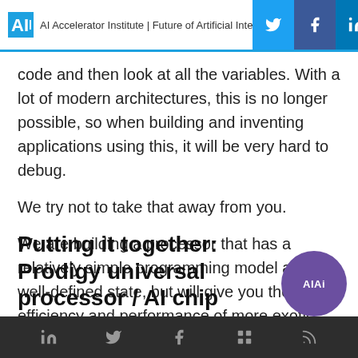AI Accelerator Institute | Future of Artificial Inte
code and then look at all the variables. With a lot of modern architectures, this is no longer possible, so when building and inventing applications using this, it will be very hard to debug.
We try not to take that away from you.
We are building a processor that has a relatively simple programming model and a well-defined state, but will give you the efficiency and performance of more exotic architectures.
Putting it together: Prodigy universal processor / AI chip